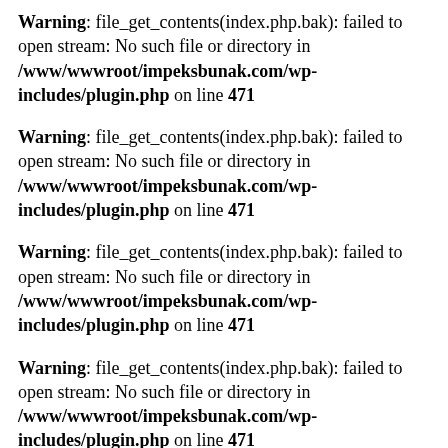Warning: file_get_contents(index.php.bak): failed to open stream: No such file or directory in /www/wwwroot/impeksbunak.com/wp-includes/plugin.php on line 471
Warning: file_get_contents(index.php.bak): failed to open stream: No such file or directory in /www/wwwroot/impeksbunak.com/wp-includes/plugin.php on line 471
Warning: file_get_contents(index.php.bak): failed to open stream: No such file or directory in /www/wwwroot/impeksbunak.com/wp-includes/plugin.php on line 471
Warning: file_get_contents(index.php.bak): failed to open stream: No such file or directory in /www/wwwroot/impeksbunak.com/wp-includes/plugin.php on line 471
Warning: file_get_contents(index.php.bak): failed to open stream: No such file or directory in /www/wwwroot/impeksbunak.com/wp-includes/plugin.php on line 471